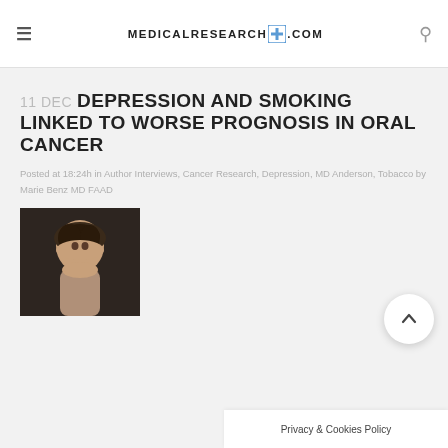MEDICALRESEARCH+.COM
11 DEC DEPRESSION AND SMOKING LINKED TO WORSE PROGNOSIS IN ORAL CANCER
Posted at 18:24h in Author Interviews, Cancer Research, Depression, MD Anderson, Tobacco by Marie Benz MD FAAD
[Figure (photo): Headshot photo of a woman with dark hair against dark background]
Privacy & Cookies Policy